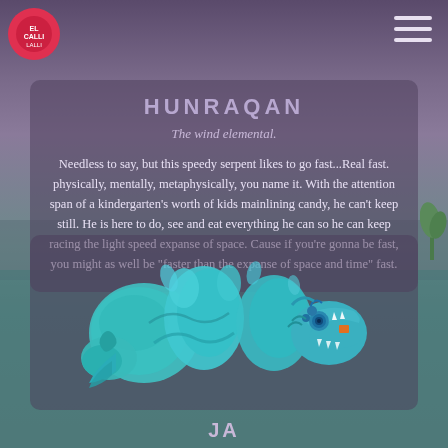HUNRAQAN
The wind elemental.
Needless to say, but this speedy serpent likes to go fast...Real fast. physically, mentally, metaphysically, you name it. With the attention span of a kindergarten's worth of kids mainlining candy, he can't keep still. He is here to do, see and eat everything he can so he can keep racing the light speed expanse of space. Cause if you're gonna be fast, you might as well be "faster than the expanse of space and time" fast.
[Figure (illustration): Pixel art illustration of a serpentine water/wind elemental creature with teal/cyan coloring, flowing water-like body with spiral and scale details, dragon-like head facing right with open mouth showing teeth, small orange square accent, blue eye.]
JA